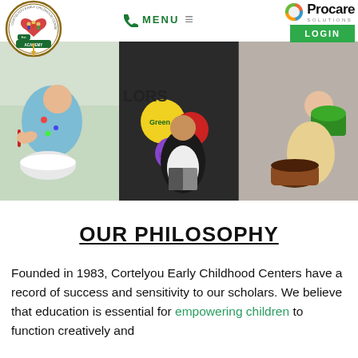[Figure (logo): Cortelyou Early Childhood Centers Academy circular seal/logo with heart and figures]
[Figure (logo): Procare Solutions logo with colorful circular icon and LOGIN button]
[Figure (photo): Three-panel hero image strip showing children in a classroom engaging in learning activities: painting, reading a colors book, and watering plants]
OUR PHILOSOPHY
Founded in 1983, Cortelyou Early Childhood Centers have a record of success and sensitivity to our scholars. We believe that education is essential for empowering children to function creatively and